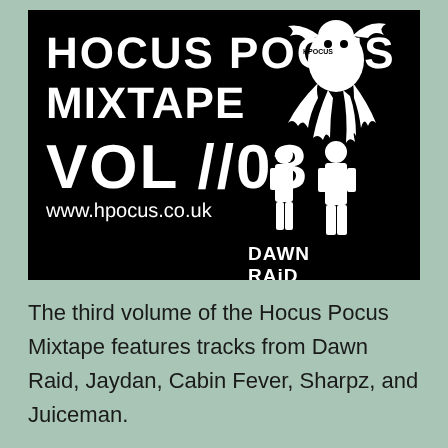[Figure (illustration): Album cover for Hocus Pocus Mixtape Vol //03. Black background with bold white text reading 'HOCUS POCUS MIXTAPE' and 'VOL //03' with 'www.hpocus.co.uk' below. On the right side is a white silhouette of an octopus with 'HPOCUS' text, and below it a white silhouette of armed figures with 'DAWN RAID' logo.]
The third volume of the Hocus Pocus Mixtape features tracks from Dawn Raid, Jaydan, Cabin Fever, Sharpz, and Juiceman.